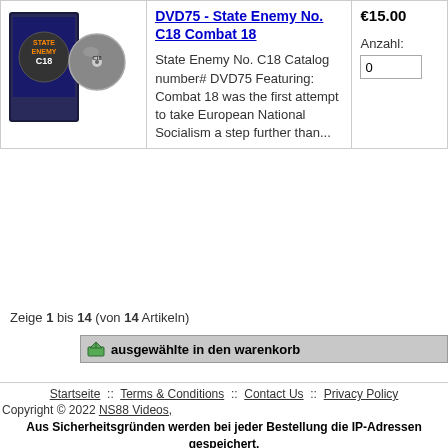[Figure (photo): DVD product image showing DVD75 - State Enemy No. C18 Combat 18 disc and case]
DVD75 - State Enemy No. C18 Combat 18
State Enemy No. C18 Catalog number# DVD75 Featuring: Combat 18 was the first attempt to take European National Socialism a step further than...
€15.00
Anzahl: 0
Zeige 1 bis 14 (von 14 Artikeln)
ausgewählte in den warenkorb
Startseite :: Terms & Conditions :: Contact Us :: Privacy Policy
Copyright © 2022 NS88 Videos,
Aus Sicherheitsgründen werden bei jeder Bestellung die IP-Adressen gespeichert.
Ihre IP Adresse lautet: 34.236.243.50